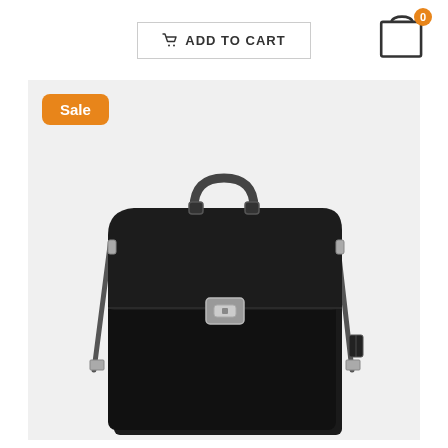ADD TO CART
[Figure (photo): Black leather briefcase with top handle, push-lock clasp, and shoulder strap. Shown against a light gray background. A 'Sale' badge in orange is displayed in the upper-left corner of the product image area.]